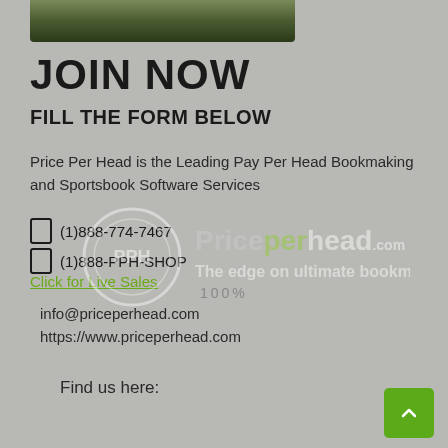[Figure (photo): Photo strip showing a football player from shoulders down, cropped at top]
JOIN NOW
FILL THE FORM BELOW
Price Per Head is the Leading Pay Per Head Bookmaking and Sportsbook Software Services
(1)888-774-7467
(1)888-PPH-SHOP
Click for Live Sales
100%
info@priceperhead.com
https://www.priceperhead.com
[Figure (logo): PricePerHead.com logo watermark with circular emblem and tagline 'The edge on ultimate bookmaking']
Find us here: